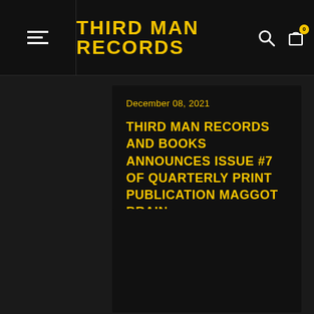THIRD MAN RECORDS
December 08, 2021
THIRD MAN RECORDS AND BOOKS ANNOUNCES ISSUE #7 OF QUARTERLY PRINT PUBLICATION MAGGOT BRAIN
Third Man Records & Books is excited to announce Issue #7...
[Figure (screenshot): Dark blank card area below the article excerpt, appears to be a partially loaded image or empty content block]